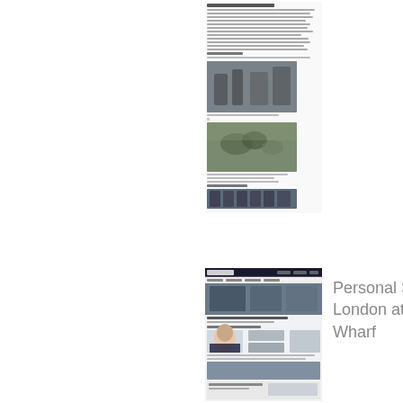[Figure (screenshot): Screenshot of a news article page with text content and embedded photographs showing people in urban/outdoor settings]
[Figure (screenshot): Screenshot of a news/media website page featuring news thumbnails and a prominent image of a woman]
Personal Safety London at The Wharf